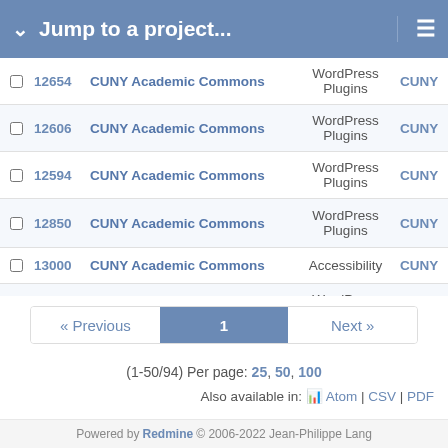Jump to a project...
|  | # | Project | Category |  |
| --- | --- | --- | --- | --- |
| ☐ | 12654 | CUNY Academic Commons | WordPress Plugins | CUNY |
| ☐ | 12606 | CUNY Academic Commons | WordPress Plugins | CUNY |
| ☐ | 12594 | CUNY Academic Commons | WordPress Plugins | CUNY |
| ☐ | 12850 | CUNY Academic Commons | WordPress Plugins | CUNY |
| ☐ | 13000 | CUNY Academic Commons | Accessibility | CUNY |
| ☐ | 12551 | CUNY Academic Commons | WordPress (misc) | CUNY |
« Previous  1  Next »
(1-50/94) Per page: 25, 50, 100
Also available in: Atom | CSV | PDF
Powered by Redmine © 2006-2022 Jean-Philippe Lang